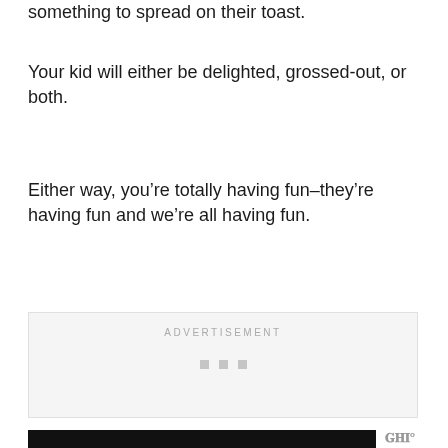something to spread on their toast.
Your kid will either be delighted, grossed-out, or both.
Either way, you’re totally having fun–they’re having fun and we’re all having fun.
[Figure (other): Advertisement placeholder box with label ADVERTISEMENT and three gray squares and a loading indicator]
[Figure (other): Dark video thumbnail with a small logo watermark in bottom right]